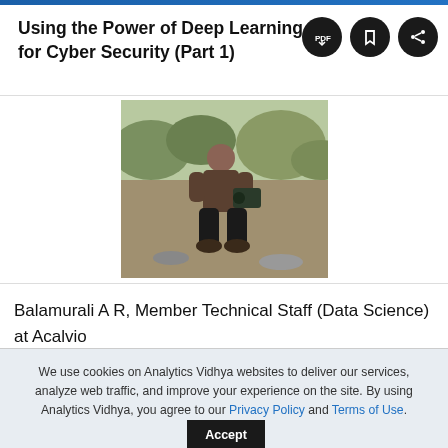Using the Power of Deep Learning for Cyber Security (Part 1)
[Figure (photo): A person crouching outdoors holding a camera or equipment, with greenery in the background]
Balamurali A R, Member Technical Staff (Data Science) at Acalvio
We use cookies on Analytics Vidhya websites to deliver our services, analyze web traffic, and improve your experience on the site. By using Analytics Vidhya, you agree to our Privacy Policy and Terms of Use.